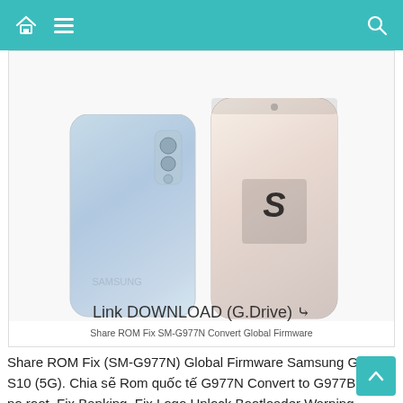Navigation bar with home, menu, and search icons
[Figure (photo): Two Samsung Galaxy S10 5G smartphones side by side — one showing the back (light blue gradient), one showing the front screen (pearl/pink gradient). Caption reads: Share ROM Fix SM-G977N Convert Global Firmware]
Share ROM Fix SM-G977N Convert Global Firmware
Share ROM Fix (SM-G977N) Global Firmware Samsung Galaxy S10 (5G). Chia sẽ Rom quốc tế G977N Convert to G977B. Rom no root, Fix Banking, Fix Logo Unlock Bootloader Warning
Link DOWNLOAD (G.Drive) ≫